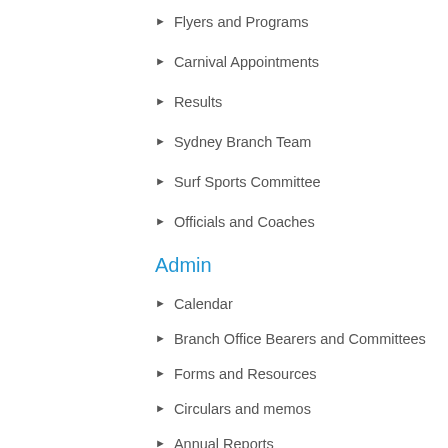Flyers and Programs
Carnival Appointments
Results
Sydney Branch Team
Surf Sports Committee
Officials and Coaches
Admin
Calendar
Branch Office Bearers and Committees
Forms and Resources
Circulars and memos
Annual Reports
Constitutions and By Laws
Surf Club of the Year
Sydney Airport Centenary Runway Run
Support Operations